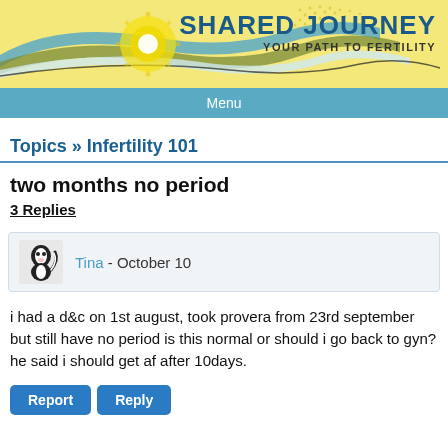[Figure (logo): Shared Journey fertility website header with decorative swoosh design in yellow, blue, green, and white with a circular sun motif. Text reads SHARED JOURNEY YOUR PATH TO FERTILITY.]
Menu
Topics » Infertility 101
two months no period
3 Replies
Tina - October 10
i had a d&c on 1st august, took provera from 23rd september but still have no period is this normal or should i go back to gyn? he said i should get af after 10days.